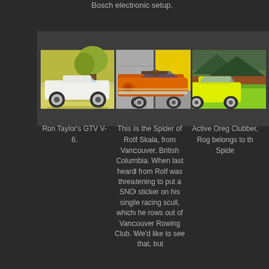Bosch electronic setup.
[Figure (photo): White Alfa Romeo GTV V-6 parked on grass with trees in background]
[Figure (photo): Orange/red Alfa Romeo Spider in what appears to be a garage or showroom setting]
[Figure (photo): Yellow Alfa Romeo Spider at what appears to be a car show with other cars in background]
Ron Taylor's GTV V-6.
This is the Spider of Rolf Skala, from Vancouver, British Columbia. When last heard from Rolf was threatening to put a SNO sticker on his single racing scull, which he rows out of Vancouver Rowing Club. We'd like to see that, but
Active Oreg Clubber, Rog belongs to th Spide